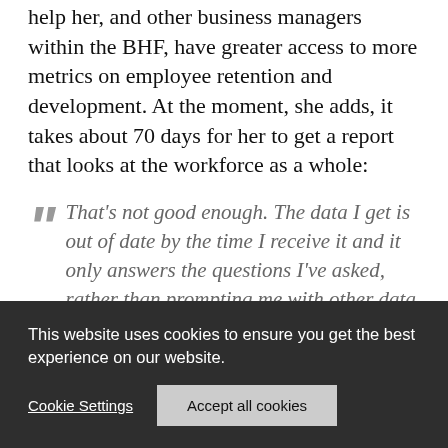help her, and other business managers within the BHF, have greater access to more metrics on employee retention and development. At the moment, she adds, it takes about 70 days for her to get a report that looks at the workforce as a whole:
“That’s not good enough. The data I get is out of date by the time I receive it and it only answers the questions I’ve asked, rather than prompting me with other data to get new insights or ask new
This website uses cookies to ensure you get the best experience on our website.
Cookie Settings | Accept all cookies